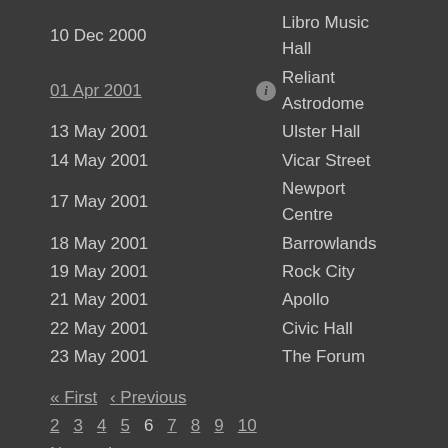10 Dec 2000 — Libro Music Hall
01 Apr 2001 — Reliant Astrodome
13 May 2001 — Ulster Hall
14 May 2001 — Vicar Street
17 May 2001 — Newport Centre
18 May 2001 — Barrowlands
19 May 2001 — Rock City
21 May 2001 — Apollo
22 May 2001 — Civic Hall
23 May 2001 — The Forum
« First  ‹ Previous
2  3  4  5  6  7  8  9  10
Next ›  Last »